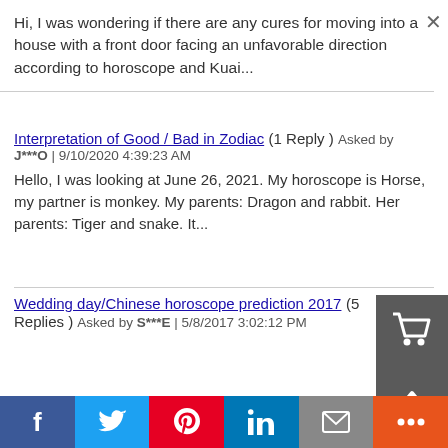Hi, I was wondering if there are any cures for moving into a house with a front door facing an unfavorable direction according to horoscope and Kuai...
Interpretation of Good / Bad in Zodiac (1 Reply ) Asked by J***O | 9/10/2020 4:39:23 AM
Hello, I was looking at June 26, 2021. My horoscope is Horse, my partner is monkey. My parents: Dragon and rabbit. Her parents: Tiger and snake. It...
Wedding day/Chinese horoscope prediction 2017 (5 Replies ) Asked by S***E | 5/8/2017 3:02:12 PM